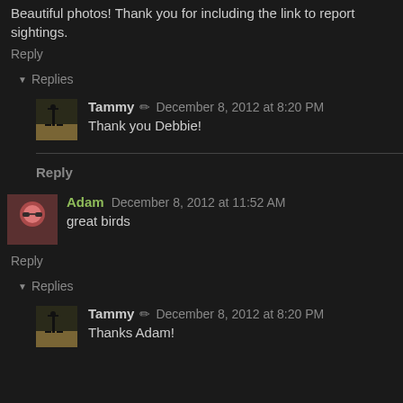Beautiful photos! Thank you for including the link to report sightings.
Reply
▼ Replies
Tammy ✏ December 8, 2012 at 8:20 PM
Thank you Debbie!
Reply
Adam December 8, 2012 at 11:52 AM
great birds
Reply
▼ Replies
Tammy ✏ December 8, 2012 at 8:20 PM
Thanks Adam!